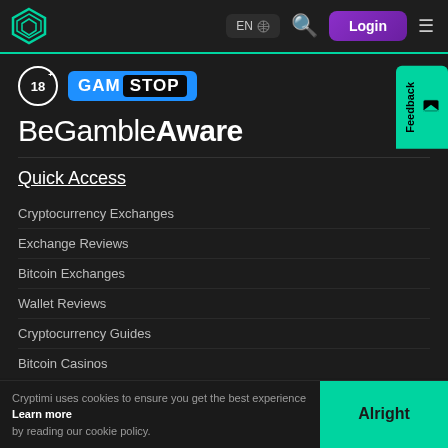Navigation bar with logo, EN language selector, search icon, Login button, hamburger menu
[Figure (logo): 18+ age restriction badge and GamStop logo]
BeGambleAware
Quick Access
Cryptocurrency Exchanges
Exchange Reviews
Bitcoin Exchanges
Wallet Reviews
Cryptocurrency Guides
Bitcoin Casinos
Cryptimi uses cookies to ensure you get the best experience. Learn more by reading our cookie policy.